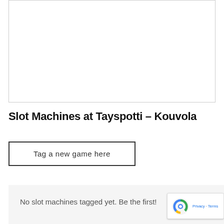[Figure (other): Empty white bordered box placeholder area]
Slot Machines at Tayspotti - Kouvola
Tag a new game here
No slot machines tagged yet. Be the first!